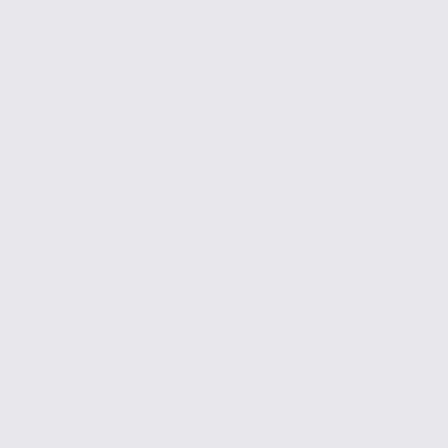2008 / 2008.02.1... Abierto 2008 (Jot...
[Figure (screenshot): Thumbnail/screenshot of a document page showing an image at the top and text lines below]
**  OPEN THE